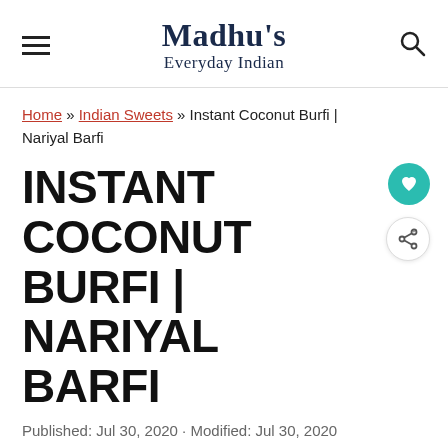Madhu's Everyday Indian
Home » Indian Sweets » Instant Coconut Burfi | Nariyal Barfi
INSTANT COCONUT BURFI | NARIYAL BARFI
Published: Jul 30, 2020 · Modified: Jul 30, 2020
f [Facebook share] p [Pinterest share] 228 SHARES